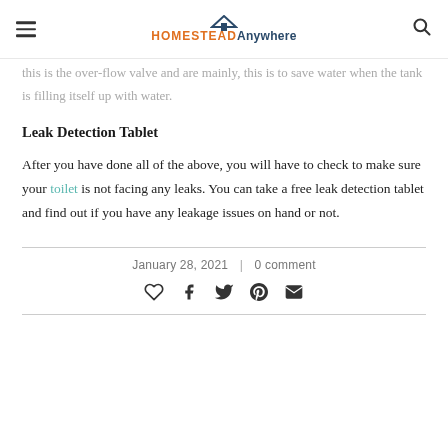HOMESTEAD Anywhere
... this is the over-flow valve and are mainly, this is to save water when the tank is filling itself up with water.
Leak Detection Tablet
After you have done all of the above, you will have to check to make sure your toilet is not facing any leaks. You can take a free leak detection tablet and find out if you have any leakage issues on hand or not.
January 28, 2021  |  0 comment
[Figure (other): Social share icons: heart, facebook, twitter, pinterest, email]